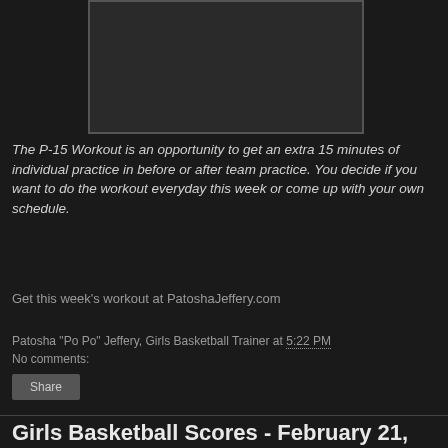[Figure (other): Dark video player placeholder rectangle with border]
The P-15 Workout is an opportunity to get an extra 15 minutes of individual practice in before or after team practice. You decide if you want to do the workout everyday this week or come up with your own schedule.
Get this week's workout at PatoshaJeffery.com
Patosha "Po Po" Jeffery, Girls Basketball Trainer at 5:22 PM
No comments:
Girls Basketball Scores - February 21,